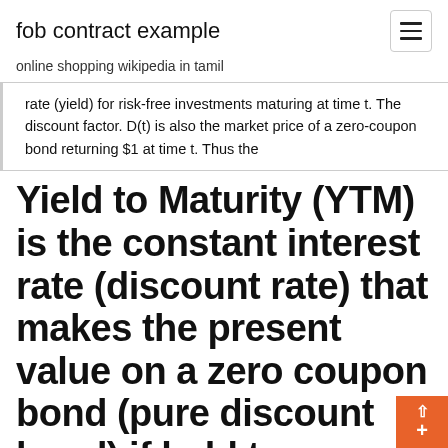fob contract example
online shopping wikipedia in tamil
rate (yield) for risk-free investments maturing at time t. The discount factor. D(t) is also the market price of a zero-coupon bond returning $1 at time t. Thus the
Yield to Maturity (YTM) is the constant interest rate (discount rate) that makes the present value on a zero coupon bond (pure discount bond) if held to maturity. But for a coupon bond held is the discount